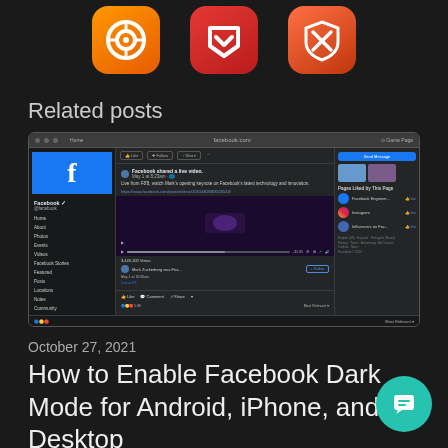[Figure (illustration): Three app icons in a row: an orange icon with a circular swirl/lens shape, a red icon with a downward-pointing bookmark/pocket logo, and a dark orange shield-shaped icon with an X pattern (Bitdefender or similar security app)]
Related posts
[Figure (screenshot): Screenshot of Facebook website in dark mode showing the Facebook page with a live video post by Facebook about F8 keynote, with navigation menu on the left (Home, About, Photos, Events, Videos, Facebook Stories, Featured, Posts, Locations, Notes, Community, Create a Page), center feed showing a video with purple lighting stage, and right sidebar showing Pages Liked by This Page including Facebook Engineering, Instagram, and Influencers on Fac..., along with Send Message button]
October 27, 2021
How to Enable Facebook Dark Mode for Android, iPhone, and Desktop